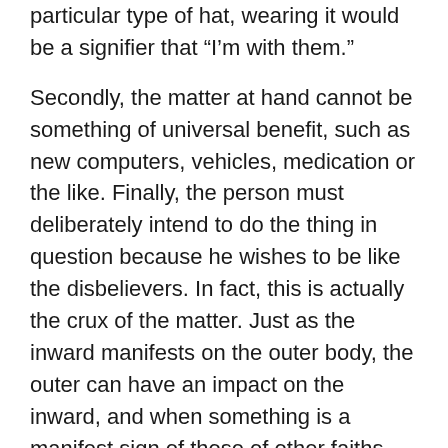What this means is that if we take the example of a particular type of hat, wearing it would be a signifier that “I’m with them.”
Secondly, the matter at hand cannot be something of universal benefit, such as new computers, vehicles, medication or the like. Finally, the person must deliberately intend to do the thing in question because he wishes to be like the disbelievers. In fact, this is actually the crux of the matter. Just as the inward manifests on the outer body, the outer can have an impact on the inward, and when something is a manifest sign of those of other faiths and a person is doing it, there is a fear for their faith. For something to be religiously impermissible, then, based on the above, we are looking for a fulfilment of these three conditions. Otherwise, it may be blameworthy and wrong, yet not outright prohibited.